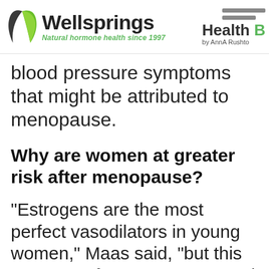Wellsprings — Natural hormone health since 1997 | Health book by AnnA Rushton
blood pressure symptoms that might be attributed to menopause.
Why are women at greater risk after menopause?
“Estrogens are the most perfect vasodilators in young women,” Maas said, “but this reverses after menopause and estrogens cannot